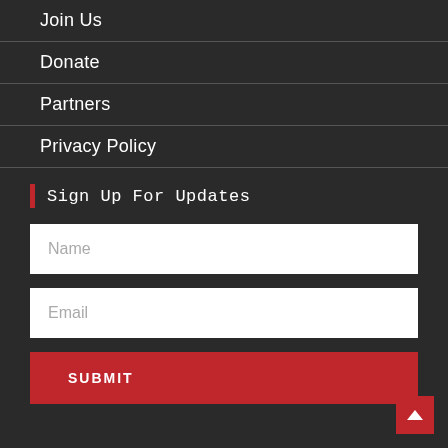Join Us
Donate
Partners
Privacy Policy
Sign Up For Updates
Name
Email
SUBMIT